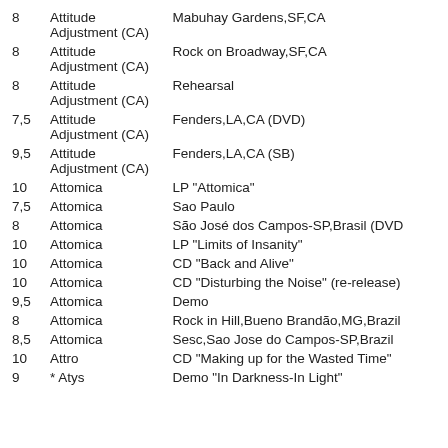| Rating | Artist | Release/Venue |
| --- | --- | --- |
| 8 | Attitude Adjustment (CA) | Mabuhay Gardens,SF,CA |
| 8 | Attitude Adjustment (CA) | Rock on Broadway,SF,CA |
| 8 | Attitude Adjustment (CA) | Rehearsal |
| 7,5 | Attitude Adjustment (CA) | Fenders,LA,CA (DVD) |
| 9,5 | Attitude Adjustment (CA) | Fenders,LA,CA (SB) |
| 10 | Attomica | LP "Attomica" |
| 7,5 | Attomica | Sao Paulo |
| 8 | Attomica | São José dos Campos-SP,Brasil (DVD |
| 10 | Attomica | LP "Limits of Insanity" |
| 10 | Attomica | CD "Back and Alive" |
| 10 | Attomica | CD "Disturbing the Noise" (re-release) |
| 9,5 | Attomica | Demo |
| 8 | Attomica | Rock in Hill,Bueno Brandão,MG,Brazil |
| 8,5 | Attomica | Sesc,Sao Jose do Campos-SP,Brazil |
| 10 | Attro | CD "Making up for the Wasted Time" |
| 9 | * Atys | Demo "In Darkness-In Light" |